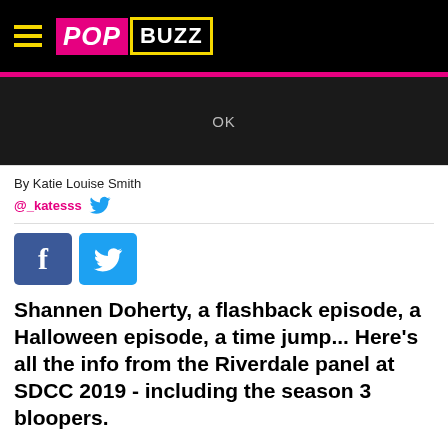POPBUZZ
[Figure (screenshot): Dark video/image area with OK text overlay]
By Katie Louise Smith
@_katesss
[Figure (other): Facebook and Twitter social share buttons]
Shannen Doherty, a flashback episode, a Halloween episode, a time jump... Here's all the info from the Riverdale panel at SDCC 2019 - including the season 3 bloopers.